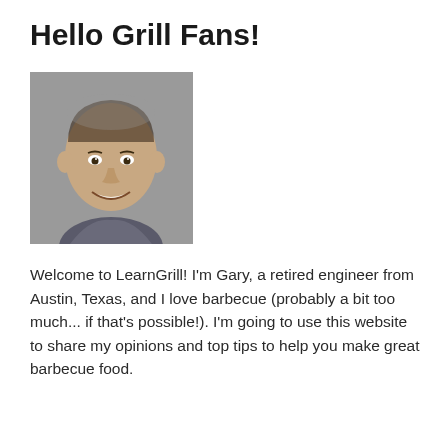Hello Grill Fans!
[Figure (photo): Headshot of a middle-aged bald man smiling, wearing a grey shirt, against a grey background.]
Welcome to LearnGrill! I'm Gary, a retired engineer from Austin, Texas, and I love barbecue (probably a bit too much... if that's possible!). I'm going to use this website to share my opinions and top tips to help you make great barbecue food.